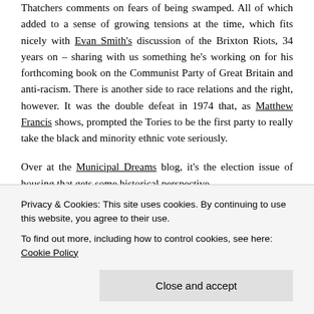Thatchers comments on fears of being swamped. All of which added to a sense of growing tensions at the time, which fits nicely with Evan Smith's discussion of the Brixton Riots, 34 years on – sharing with us something he's working on for his forthcoming book on the Communist Party of Great Britain and anti-racism. There is another side to race relations and the right, however. It was the double defeat in 1974 that, as Matthew Francis shows, prompted the Tories to be the first party to really take the black and minority ethnic vote seriously.
Over at the Municipal Dreams blog, it's the election issue of housing that gets some historical perspective
Privacy & Cookies: This site uses cookies. By continuing to use this website, you agree to their use.
To find out more, including how to control cookies, see here: Cookie Policy